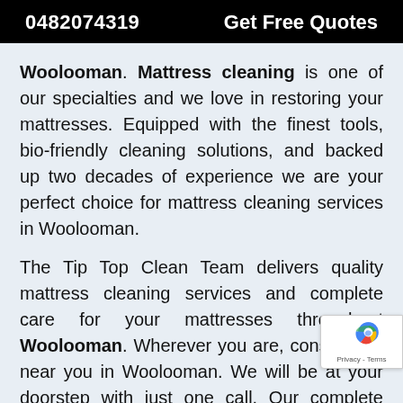0482074319   Get Free Quotes
Woolooman. Mattress cleaning is one of our specialties and we love in restoring your mattresses. Equipped with the finest tools, bio-friendly cleaning solutions, and backed up two decades of experience we are your perfect choice for mattress cleaning services in Woolooman.
The Tip Top Clean Team delivers quality mattress cleaning services and complete care for your mattresses throughout Woolooman. Wherever you are, consider us near you in Woolooman. We will be at your doorstep with just one call. Our complete mattress cleaning solutions include services like mattress cleaning, mattress steam cleaning, mattress removal, mattress odor removal, mattress sanitizing